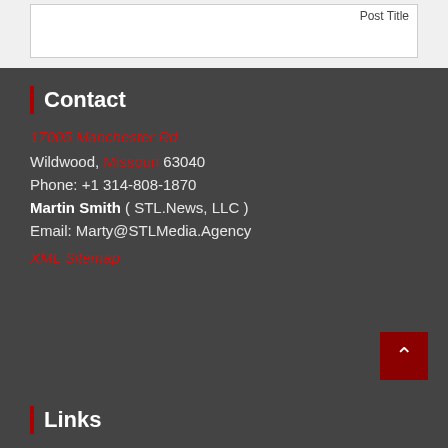Post Title
Contact
17005 Manchester Rd
Wildwood, Missouri 63040
Phone: +1 314-808-1870
Martin Smith ( STL.News, LLC )
Email: Marty@STLMedia.Agency
XML Sitemap
Links